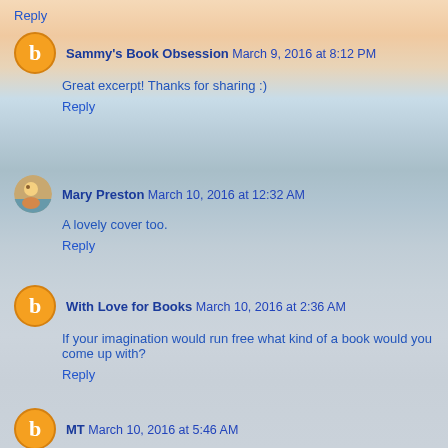Reply
Sammy's Book Obsession March 9, 2016 at 8:12 PM
Great excerpt! Thanks for sharing :)
Reply
Mary Preston March 10, 2016 at 12:32 AM
A lovely cover too.
Reply
With Love for Books March 10, 2016 at 2:36 AM
If your imagination would run free what kind of a book would you come up with?
Reply
MT March 10, 2016 at 5:46 AM